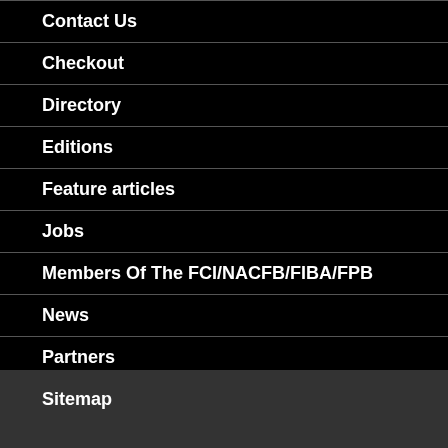Contact Us
Checkout
Directory
Editions
Feature articles
Jobs
Members Of The FCI/NACFB/FIBA/FPB
News
Partners
Sitemap